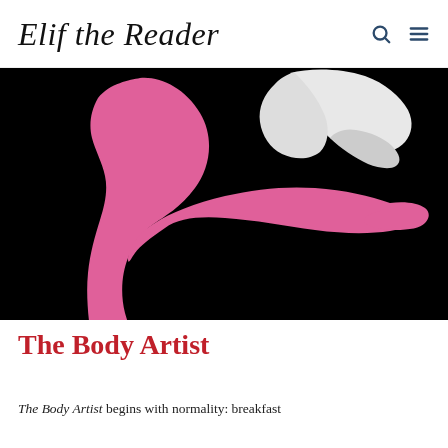Elif the Reader
[Figure (illustration): Book cover illustration on black background showing a pink silhouette of a female figure with white hair against black background]
The Body Artist
The Body Artist begins with normality: breakfast